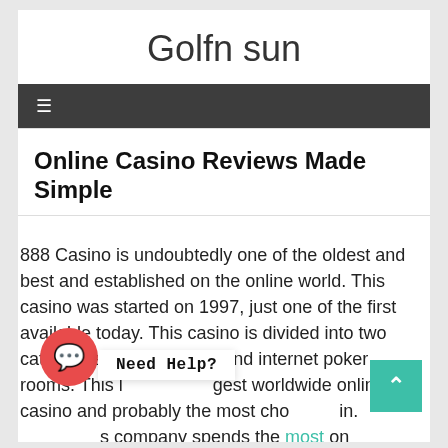Golfn sun
≡
Online Casino Reviews Made Simple
888 Casino is undoubtedly one of the oldest and best and established on the online world. This casino was started on 1997, just one of the first available today. This casino is divided into two categories; online casino and internet poker rooms. This largest worldwide online casino and probably the most chosen. This company spends the most on advertising compared for any other online casino, with billboards everywhere over the world. The worlds famous